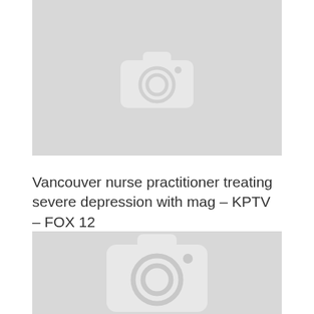[Figure (photo): Placeholder image with camera icon, partial view at top]
Vancouver nurse practitioner treating severe depression with mag – KPTV – FOX 12
[Figure (photo): Placeholder image with camera icon, partial view at bottom]